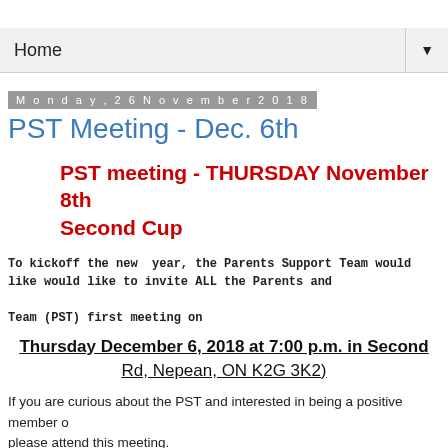Home
Monday, 26 November 2018
PST Meeting - Dec. 6th
PST meeting - THURSDAY November 8th Second Cup
To kickoff the new year, the Parents Support Team would like would like to invite ALL the Parents and Team (PST) first meeting on
Thursday December 6, 2018 at 7:00 p.m. in Second Rd, Nepean, ON K2G 3K2)
If you are curious about the PST and interested in being a positive member o please attend this meeting.
Agenda;
- Treasurer update - PST needs a treasurer